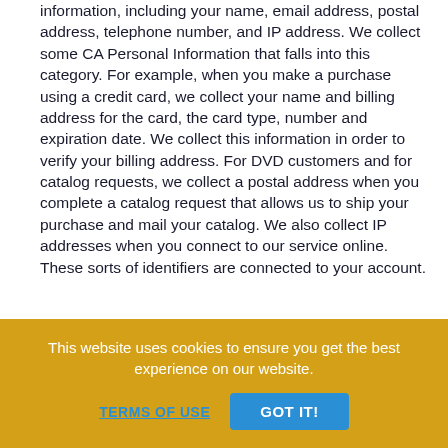information, including your name, email address, postal address, telephone number, and IP address. We collect some CA Personal Information that falls into this category. For example, when you make a purchase using a credit card, we collect your name and billing address for the card, the card type, number and expiration date. We collect this information in order to verify your billing address. For DVD customers and for catalog requests, we collect a postal address when you complete a catalog request that allows us to ship your purchase and mail your catalog. We also collect IP addresses when you connect to our service online. These sorts of identifiers are connected to your account.
2. Characteristics of protected classifications under California federal law. This category includes...
This website uses cookies to ensure you get the best experience on our website.
TERMS OF USE
GOT IT!